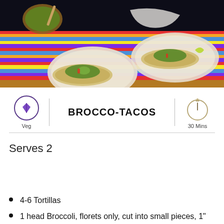[Figure (photo): Overhead photo of tacos on plates with green salsa and lime, on a colorful striped tablecloth, with a small wooden bowl of seeds/spices]
Veg
BROCCO-TACOS
30 Mins
Serves 2
4-6 Tortillas
1 head Broccoli, florets only, cut into small pieces, 1" or smaller